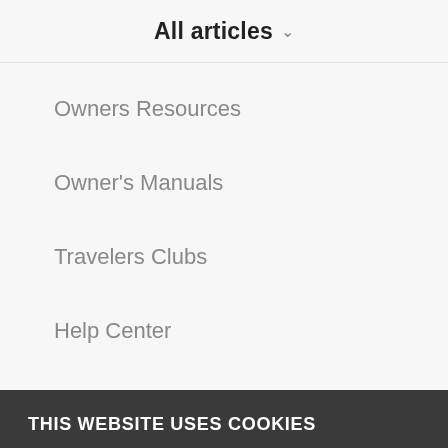All articles
Owners Resources
Owner's Manuals
Travelers Clubs
Help Center
Company
THIS WEBSITE USES COOKIES
We use cookies to improve your experience on your site and for marketing purposes. To find out more, read our updated Privacy Policy and Terms of Use.
Cookie Settings
Accept All Cookies